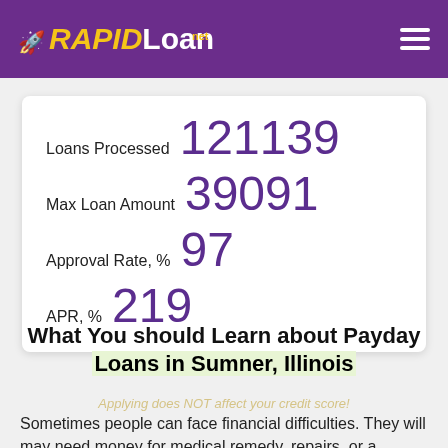RAPIDLoan.net
| Metric | Value |
| --- | --- |
| Loans Processed | 121139 |
| Max Loan Amount | 39091 |
| Approval Rate, % | 97 |
| APR, % | 219 |
What You should Learn about Payday Loans in Sumner, Illinois
Applying does NOT affect your credit score!
Sometimes people can face financial difficulties. They will may need money for medical remedy, repairs, or a